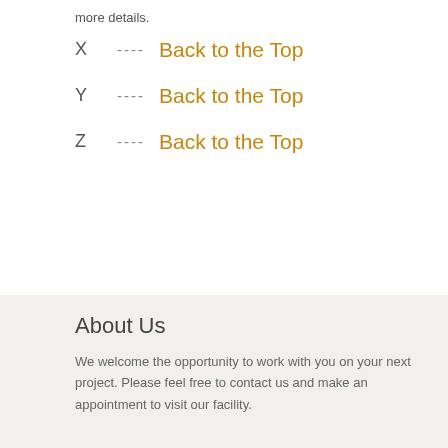more details.
X ---- Back to the Top
Y ---- Back to the Top
Z ---- Back to the Top
About Us
We welcome the opportunity to work with you on your next project. Please feel free to contact us and make an appointment to visit our facility.